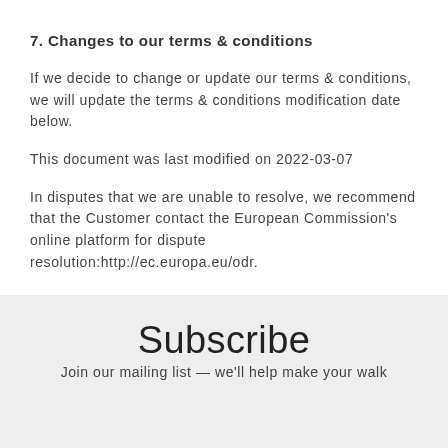7. Changes to our terms & conditions
If we decide to change or update our terms & conditions, we will update the terms & conditions modification date below.
This document was last modified on 2022-03-07
In disputes that we are unable to resolve, we recommend that the Customer contact the European Commission's online platform for dispute resolution:http://ec.europa.eu/odr.
Subscribe
Join our mailing list — we'll help make your walk